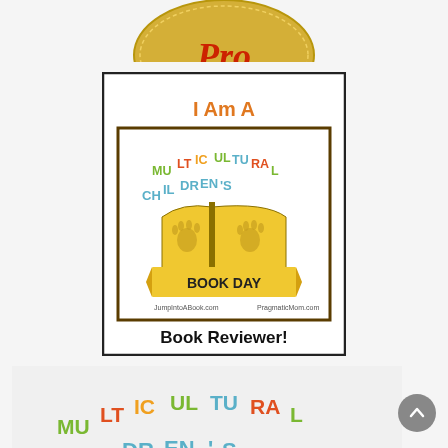[Figure (logo): Partially visible gold circular badge/seal with red italic text 'Pro' visible at the top of the page, cut off]
[Figure (logo): Badge image with black border reading 'I Am A' in orange text at top, then an inner framed image with 'MULTICULTURAL CHILDREN'S BOOK DAY' logo showing an open book with handprints, website URLs 'JumpIntoABook.com' and 'PragmaticMom.com', and 'Book Reviewer!' in bold black text at bottom]
[Figure (logo): Partially visible Multicultural Children's Book Day logo at the bottom of the page, cut off, showing colorful arched text 'MULTICULTURAL CHILDREN'S']